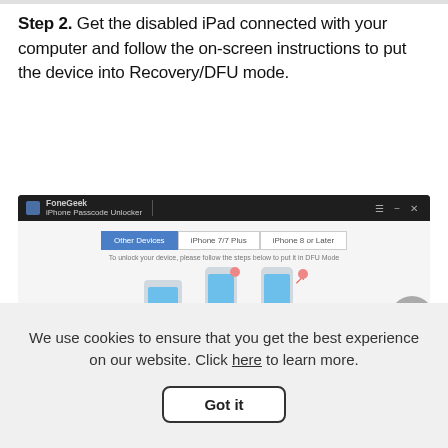Step 2. Get the disabled iPad connected with your computer and follow the on-screen instructions to put the device into Recovery/DFU mode.
[Figure (screenshot): FoneGeek iPhone Passcode Unlocker application window showing DFU mode instructions with three device diagrams: an iPad connected via cable, a phone with finger press on top button, and a phone with finger press on bottom button. Tabs show Other Devices (active, highlighted in blue), iPhone 7/7 Plus, and iPhone 8 or Later.]
We use cookies to ensure that you get the best experience on our website. Click here to learn more.
Got it